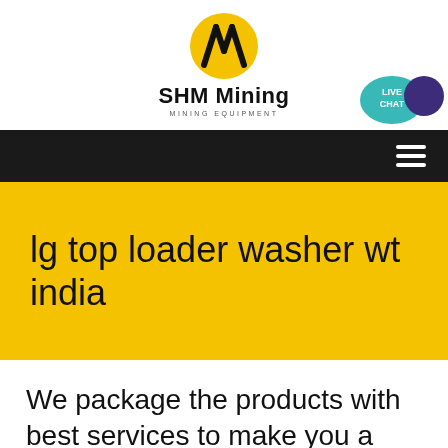[Figure (logo): SHM Mining logo: yellow oval with black diagonal lines forming an M shape, bold black text 'SHM Mining' and smaller text 'MINING EQUIPMENT' below]
[Figure (infographic): Live chat button: teal speech bubble with 'LIVE CHAT' text and dark purple speech bubble icon to the right]
[Figure (infographic): Black navigation bar with white hamburger menu icon (three horizontal lines) on the right side]
lg top loader washer wt india
We package the products with best services to make you a happy